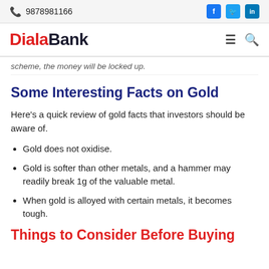9878981166
scheme, the money will be locked up.
Some Interesting Facts on Gold
Here's a quick review of gold facts that investors should be aware of.
Gold does not oxidise.
Gold is softer than other metals, and a hammer may readily break 1g of the valuable metal.
When gold is alloyed with certain metals, it becomes tough.
Things to Consider Before Buying